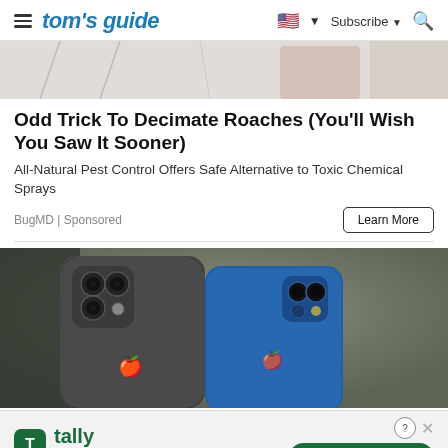tom's guide | Subscribe
[Figure (photo): Top portion of a product image, partially visible at top of page]
Odd Trick To Decimate Roaches (You'll Wish You Saw It Sooner)
All-Natural Pest Control Offers Safe Alternative to Toxic Chemical Sprays
BugMD | Sponsored
[Figure (photo): Two iPhones side by side on a concrete/rock surface — a dark gray iPhone 13 Pro Max on left and a blue iPhone 13 on right, showing their rear camera systems]
[Figure (other): Tally advertisement banner — 'Fast credit card payoff' with Download Now button]